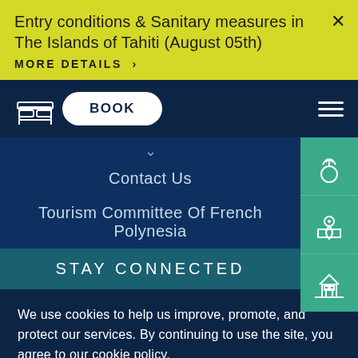Entry conditions & Sanitary measures in The Islands of Tahiti (August 05th)
MORE DETAILS >
[Figure (screenshot): Navigation bar with bed icon, BOOK button, and hamburger menu on dark navy background]
Contact Us
Tourism Committee Of French Polynesia
STAY CONNECTED
We use cookies to help us improve, promote, and protect our services. By continuing to use the site, you agree to our cookie policy.
Do not sell my information